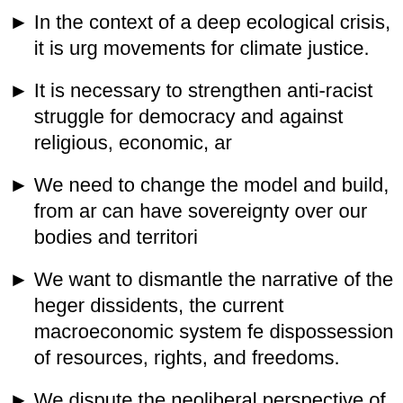In the context of a deep ecological crisis, it isurg movements for climate justice.
It is necessary to strengthen anti-racist struggle for democracy and against religious, economic, ar
We need to change the model and build, from ar can have sovereignty over our bodies and territori
We want to dismantle the narrative of the heger dissidents, the current macroeconomic system fe dispossession of resources, rights, and freedoms.
We dispute the neoliberal perspective of market expense, that it is not important and not good for ever–in the context of a health crisis–programs ar among others, need to be strengthened, such as c
The right to habitat: the pandemic highlighted t LGTQ+ members and abolition...